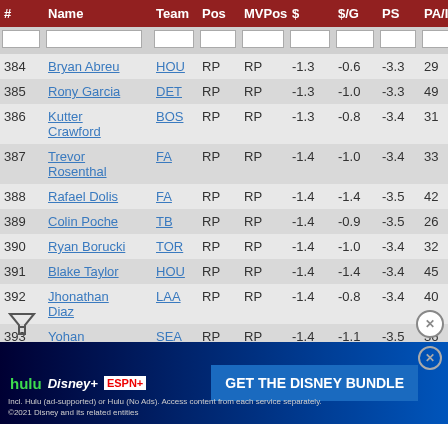| # | Name | Team | Pos | MVPos | $ | $/G | PS | PA/IP | $R | $HR |
| --- | --- | --- | --- | --- | --- | --- | --- | --- | --- | --- |
| 384 | Bryan Abreu | HOU | RP | RP | -1.3 | -0.6 | -3.3 | 29 |  |  |
| 385 | Rony Garcia | DET | RP | RP | -1.3 | -1.0 | -3.3 | 49 |  |  |
| 386 | Kutter Crawford | BOS | RP | RP | -1.3 | -0.8 | -3.4 | 31 |  |  |
| 387 | Trevor Rosenthal | FA | RP | RP | -1.4 | -1.0 | -3.4 | 33 |  |  |
| 388 | Rafael Dolis | FA | RP | RP | -1.4 | -1.4 | -3.5 | 42 |  |  |
| 389 | Colin Poche | TB | RP | RP | -1.4 | -0.9 | -3.5 | 26 |  |  |
| 390 | Ryan Borucki | TOR | RP | RP | -1.4 | -1.0 | -3.4 | 32 |  |  |
| 391 | Blake Taylor | HOU | RP | RP | -1.4 | -1.4 | -3.4 | 45 |  |  |
| 392 | Jhonathan Diaz | LAA | RP | RP | -1.4 | -0.8 | -3.4 | 40 |  |  |
| 393 | Yohan Ram... | SEA | RP | RP | -1.4 | -1.1 | -3.5 | 36 |  |  |
| 394 | And... |  |  |  |  |  |  |  |  |  |
[Figure (other): Disney Bundle advertisement banner overlay: Hulu, Disney+, ESPN+ logos and 'GET THE DISNEY BUNDLE' call to action button]